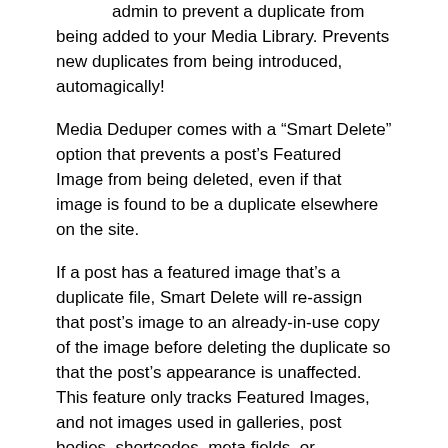admin to prevent a duplicate from being added to your Media Library. Prevents new duplicates from being introduced, automagically!
Media Deduper comes with a “Smart Delete” option that prevents a post’s Featured Image from being deleted, even if that image is found to be a duplicate elsewhere on the site.
If a post has a featured image that’s a duplicate file, Smart Delete will re-assign that post’s image to an already-in-use copy of the image before deleting the duplicate so that the post’s appearance is unaffected. This feature only tracks Featured Images, and not images used in galleries, post bodies, shortcodes, meta fields, or anywhere else.
Looking for more features? Media Deduper Pro includes features for image fields from several popular plugins as well.